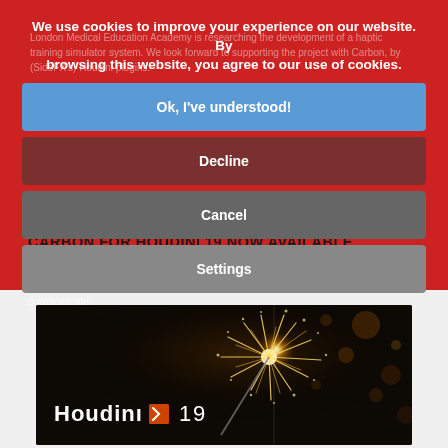We use cookies to improve your experience on our website. By browsing this website, you agree to our use of cookies.
Ok, I've understood!
Decline
Cancel
Settings
London Medical Education Academy is researching the development of a haptic training simulator system. We look forward to supporting the project with Carbon, by (SideFX's) Houdini plugins.
CARBON FOR HOUDINI 19 NOW AVAILABLE
29th October. Congratulations to SideFX on another great release with Houdini 19.
We are pleased to announce that Carbon for Houdini 19 is already available from our download site.
[Figure (photo): Houdini 19 splash screen image showing a sparkler/firework against a dark background with 'Houdini 19' logo text in white]